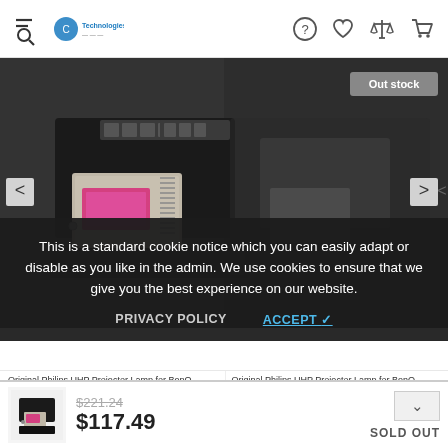[Figure (screenshot): E-commerce website header with hamburger+search icon on left, company logo, and icons (help, heart, scale, cart) on right]
[Figure (photo): Projector lamp product image on dark background with Out stock badge, left/right navigation arrows]
This is a standard cookie notice which you can easily adapt or disable as you like in the admin. We use cookies to ensure that we give you the best experience on our website.
PRIVACY POLICY   ACCEPT ✓
Original Philips UHP Projector Lamp for BenQ 5JJ0108.001
$69.49  $82.99
Original Philips UHP Projector Lamp for BenQ C5.5JJ2F.001
$135.99  $93.99
[Figure (photo): Small thumbnail of projector lamp product]
$221.24
$117.49
SOLD OUT